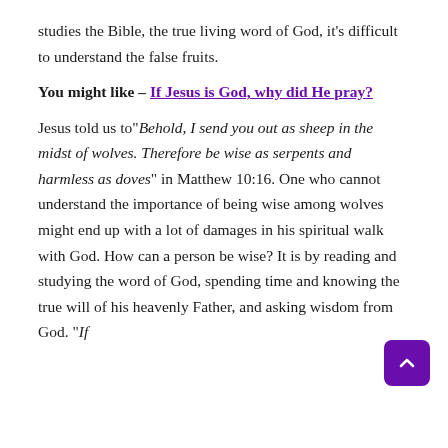studies the Bible, the true living word of God, it's difficult to understand the false fruits.
You might like – If Jesus is God, why did He pray?
Jesus told us to“Behold, I send you out as sheep in the midst of wolves. Therefore be wise as serpents and harmless as doves” in Matthew 10:16. One who cannot understand the importance of being wise among wolves might end up with a lot of damages in his spiritual walk with God. How can a person be wise? It is by reading and studying the word of God, spending time and knowing the true will of his heavenly Father, and asking wisdom from God. “If